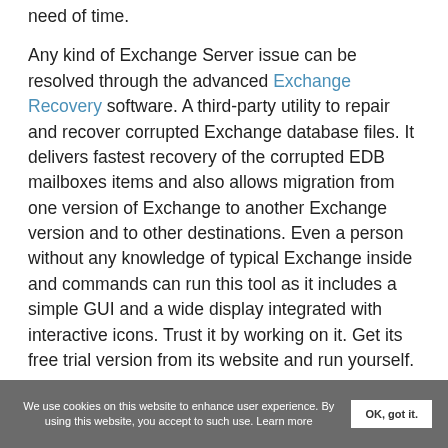need of time.
Any kind of Exchange Server issue can be resolved through the advanced Exchange Recovery software. A third-party utility to repair and recover corrupted Exchange database files. It delivers fastest recovery of the corrupted EDB mailboxes items and also allows migration from one version of Exchange to another Exchange version and to other destinations. Even a person without any knowledge of typical Exchange inside and commands can run this tool as it includes a simple GUI and a wide display integrated with interactive icons. Trust it by working on it. Get its free trial version from its website and run yourself.
We use cookies on this website to enhance user experience. By using this website, you accept to such use. Learn more  OK, got it.